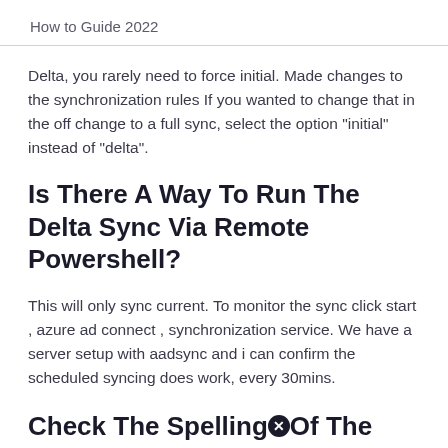How to Guide 2022
Delta, you rarely need to force initial. Made changes to the synchronization rules If you wanted to change that in the off change to a full sync, select the option "initial" instead of "delta".
Is There A Way To Run The Delta Sync Via Remote Powershell?
This will only sync current. To monitor the sync click start , azure ad connect , synchronization service. We have a server setup with aadsync and i can confirm the scheduled syncing does work, every 30mins.
Check The SpellingⓧOf The Name, Or If